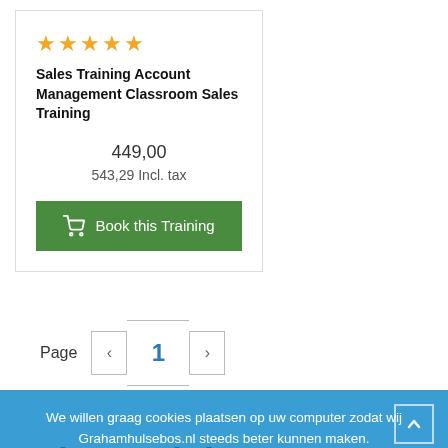[Figure (other): Product card with star rating, title, price, and book button]
Sales Training Account Management Classroom Sales Training
449,00
543,29 Incl. tax
Page
1
We willen graag cookies plaatsen op uw computer zodat wij Grahamhulsebos.nl steeds beter kunnen maken.
Sales Training Account Management Classroom by Graham Hulsebos
Ja
Nee
MEER INFORMATIE